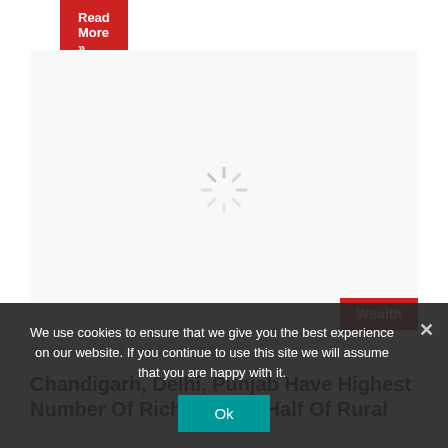Read More »
[Figure (illustration): Loading spinner icon (gray radial lines) centered in a white/light gray content area with a red 'Wealth' badge at the bottom right]
admin  24 mins ago  0
Chandigarh, Delhi, Punjab Have Highest Number Of Rich People; Half Of Rural
We use cookies to ensure that we give you the best experience on our website. If you continue to use this site we will assume that you are happy with it.
Ok